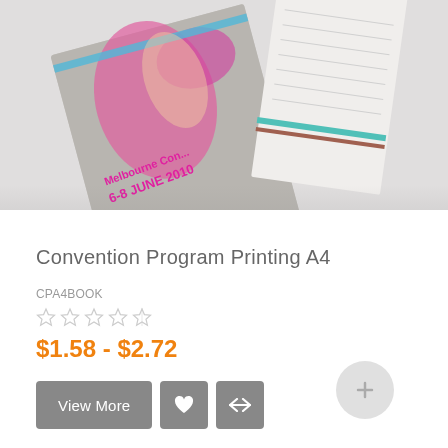[Figure (photo): Photo of convention program brochures/booklets fanned out, showing a cover with 'Melbourne Convention 6-8 JUNE 2010' printed in pink text, with a woman's hand visible on the cover.]
Convention Program Printing A4
CPA4BOOK
[Figure (other): Star rating display showing approximately 4 out of 5 stars in gray/orange]
$1.58 - $2.72
View More